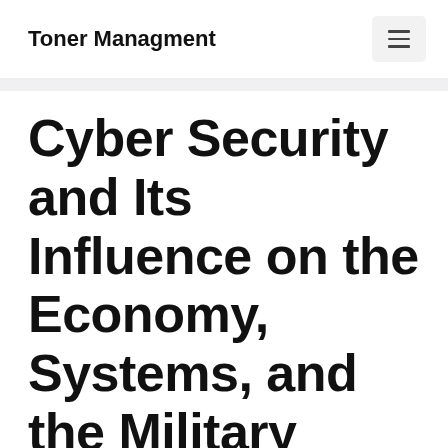Toner Managment
Cyber Security and Its Influence on the Economy, Systems, and the Military
August 20, 2021 by admin